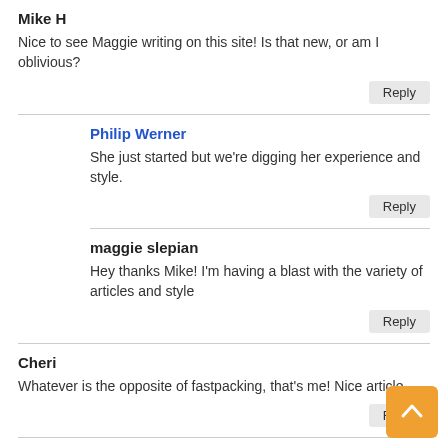Mike H
Nice to see Maggie writing on this site! Is that new, or am I oblivious?
Reply
Philip Werner
She just started but we're digging her experience and style.
Reply
maggie slepian
Hey thanks Mike! I'm having a blast with the variety of articles and style
Reply
Cheri
Whatever is the opposite of fastpacking, that's me! Nice article.
Reply
Grandpa